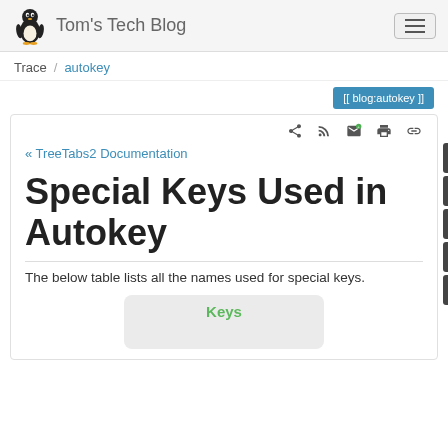Tom's Tech Blog
Trace / autokey
[[ blog:autokey ]]
« TreeTabs2 Documentation
Special Keys Used in Autokey
The below table lists all the names used for special keys.
| Keys |
| --- |